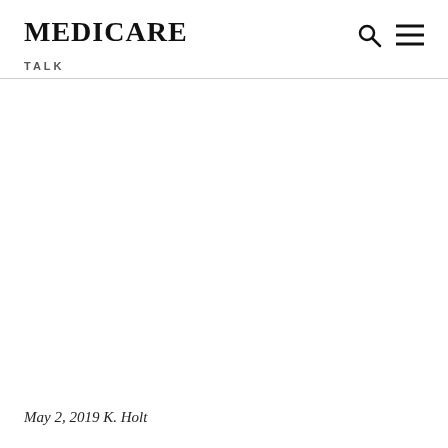MEDICARE TALK
May 2, 2019 K. Holt